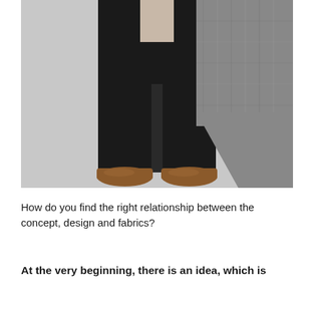[Figure (photo): Fashion photo showing the lower body of a person wearing wide-leg black trousers and a grey tweed blazer/coat draped over, with brown leather oxford shoes, against a light grey background.]
How do you find the right relationship between the concept, design and fabrics?
At the very beginning, there is an idea, which is